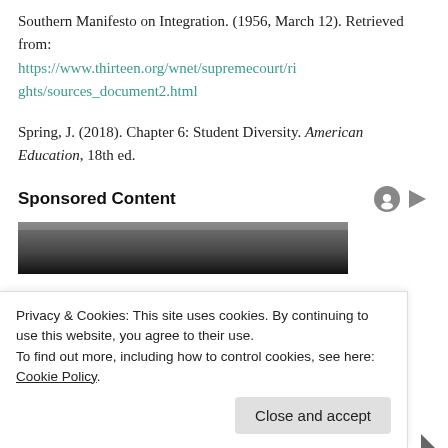Southern Manifesto on Integration. (1956, March 12). Retrieved from: https://www.thirteen.org/wnet/supremecourt/rights/sources_document2.html
Spring, J. (2018). Chapter 6: Student Diversity. American Education, 18th ed.
Sponsored Content
[Figure (photo): Black and white photo (partial, cropped) shown in sponsored content area]
Privacy & Cookies: This site uses cookies. By continuing to use this website, you agree to their use.
To find out more, including how to control cookies, see here: Cookie Policy
Close and accept